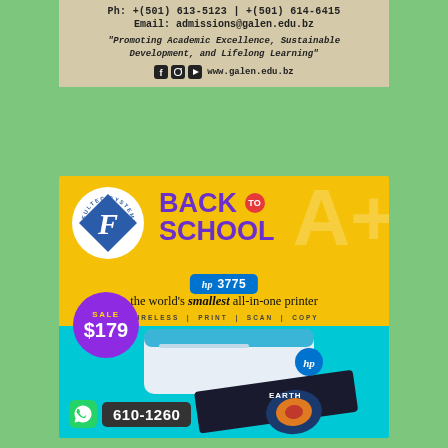Ph: +(501) 613-5123 | +(501) 614-6415
Email: admissions@galen.edu.bz
"Promoting Academic Excellence, Sustainable Development, and Lifelong Learning"
www.galen.edu.bz
[Figure (illustration): Fultec Systems Back to School advertisement featuring HP 3775 all-in-one printer on sale for $179, with WhatsApp contact 610-1260]
BACK to SCHOOL
hp 3775
the world's smallest all-in-one printer
WIRELESS | PRINT | SCAN | COPY
SALE $179
610-1260